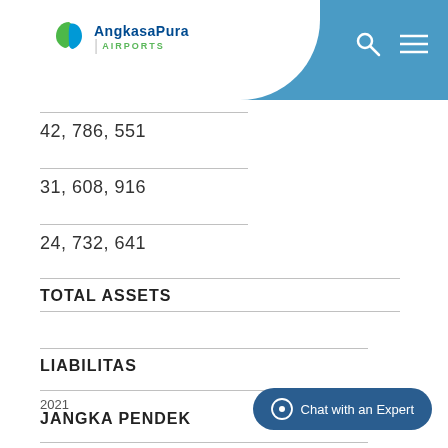AngkasaPura | AIRPORTS
42,786,551
31,608,916
24,732,641
TOTAL ASSETS
LIABILITAS
JANGKA PENDEK
2021
2020